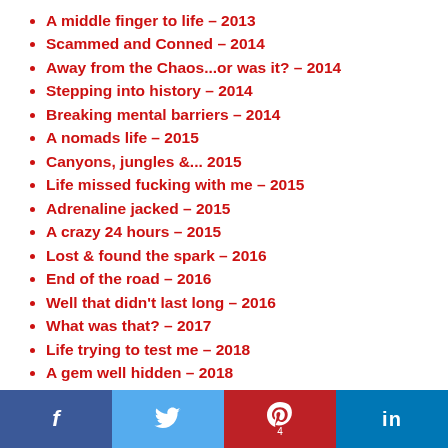A middle finger to life – 2013
Scammed and Conned – 2014
Away from the Chaos...or was it? – 2014
Stepping into history – 2014
Breaking mental barriers – 2014
A nomads life – 2015
Canyons, jungles &... 2015
Life missed fucking with me – 2015
Adrenaline jacked – 2015
A crazy 24 hours – 2015
Lost & found the spark – 2016
End of the road – 2016
Well that didn't last long – 2016
What was that? – 2017
Life trying to test me – 2018
A gem well hidden – 2018
f  [twitter]  P 4  in